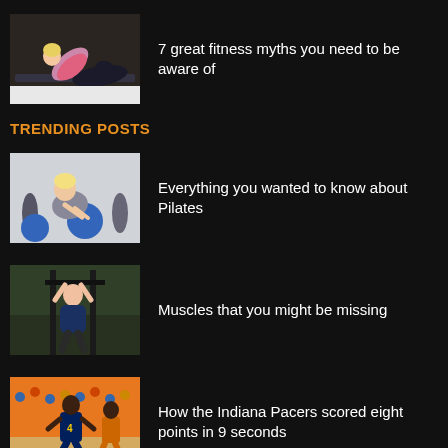[Figure (photo): Woman doing sit-ups on a mat]
7 great fitness myths you need to be aware of
TRENDING POSTS
[Figure (photo): Women doing Pilates with exercise balls in a studio]
Everything you wanted to know about Pilates
[Figure (photo): Man doing pull-ups on outdoor gym equipment]
Muscles that you might be missing
[Figure (photo): Indiana Pacers basketball game action shot]
How the Indiana Pacers scored eight points in 9 seconds